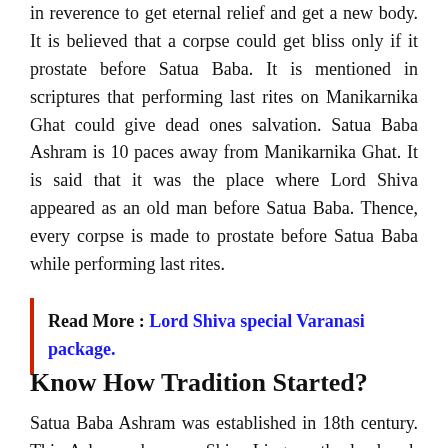in reverence to get eternal relief and get a new body. It is believed that a corpse could get bliss only if it prostate before Satua Baba. It is mentioned in scriptures that performing last rites on Manikarnika Ghat could give dead ones salvation. Satua Baba Ashram is 10 paces away from Manikarnika Ghat. It is said that it was the place where Lord Shiva appeared as an old man before Satua Baba. Thence, every corpse is made to prostate before Satua Baba while performing last rites.
Read More : Lord Shiva special Varanasi package.
Know How Tradition Started?
Satua Baba Ashram was established in 18th century. This Ashrama has one Shiva-Lingam, the landmark of Varanasi. It is said that Vaishnavite Saint